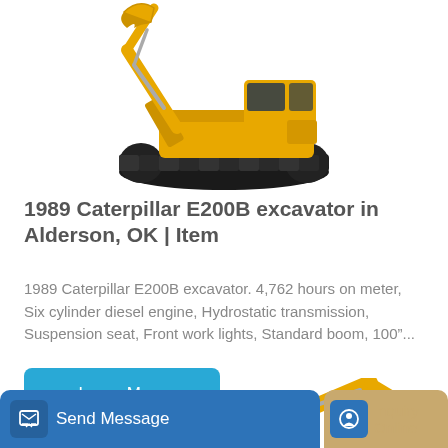[Figure (photo): Yellow Caterpillar E200B excavator on white background, side/front view showing boom, bucket, cab, and tracks]
1989 Caterpillar E200B excavator in Alderson, OK | Item
1989 Caterpillar E200B excavator. 4,762 hours on meter, Six cylinder diesel engine, Hydrostatic transmission, Suspension seat, Front work lights, Standard boom, 100"...
Learn More
[Figure (photo): Partial view of yellow excavator arm/boom visible at bottom of page]
Send Message
Inquiry Online